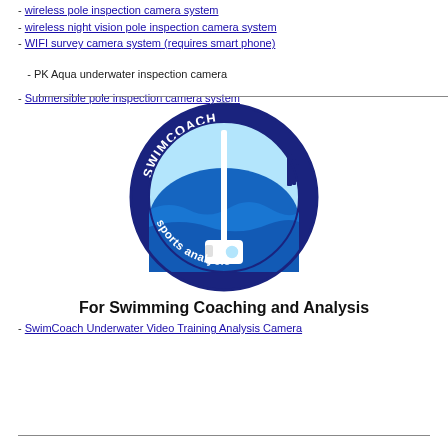- wireless pole inspection camera system
- wireless night vision pole inspection camera system
- WIFI survey camera system (requires smart phone)
- PK Aqua underwater inspection camera
- Submersible pole inspection camera system
[Figure (logo): SwimCoach sports analysis logo: circular dark blue badge with 'SWIMCOACH' text at top and 'sports analysis' text at bottom, light blue circle interior showing water waves and a pole camera submerged in water.]
For Swimming Coaching and Analysis
- SwimCoach Underwater Video Training Analysis Camera